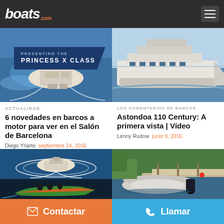boats.com
[Figure (screenshot): Banner ad showing Princess X Class yacht - aerial view of white motor yacht on water]
[Figure (photo): Large white luxury motor yacht underway at sea, aerial/side view]
ACTUALIDAD
6 novedades en barcos a motor para ver en el Salón de Barcelona
Diego Yriarte  septiembre 24, 2016
LOS COMENTARIOS DE BARCOS
Astondoa 110 Century: A primera vista | Vídeo
Lenny Rudow  junio 9, 2016
[Figure (photo): Aerial view of white luxury motor yacht making sharp turn on blue water]
[Figure (photo): Green and orange speedboat with people on open water]
[Figure (photo): Gray inflatable RIB boat with outboard motor docked at marina]
Contactar
Llamar